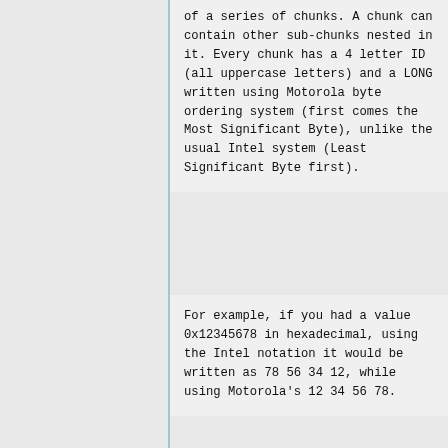of a series of chunks. A chunk can contain other sub-chunks nested in it. Every chunk has a 4 letter ID (all uppercase letters) and a LONG written using Motorola byte ordering system (first comes the Most Significant Byte), unlike the usual Intel system (Least Significant Byte first).
For example, if you had a value 0x12345678 in hexadecimal, using the Intel notation it would be written as 78 56 34 12, while using Motorola's 12 34 56 78.